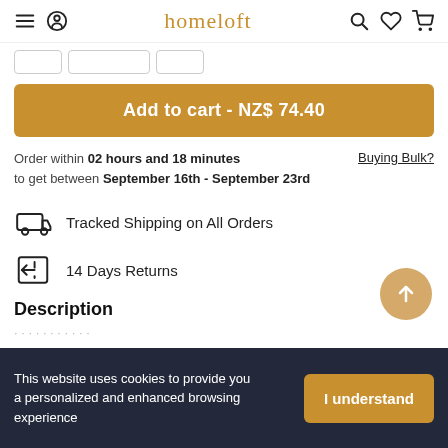homeloft
Add to cart - NZ$ 74.40
Order within 02 hours and 18 minutes to get between September 16th - September 23rd
Buying Bulk?
Tracked Shipping on All Orders
14 Days Returns
Description
This website uses cookies to provide you a personalized and enhanced browsing experience